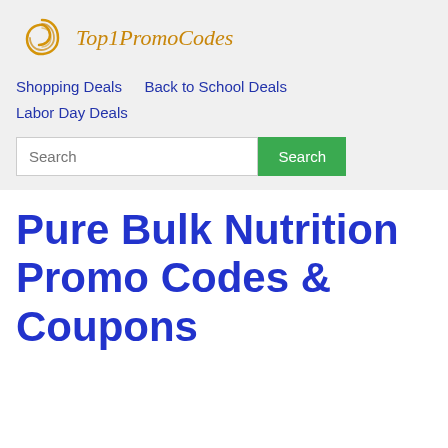[Figure (logo): Top1PromoCodes spiral logo icon in gold/orange color with italic serif text 'Top1PromoCodes']
Shopping Deals   Back to School Deals   Labor Day Deals
Search
Pure Bulk Nutrition Promo Codes & Coupons September 2023